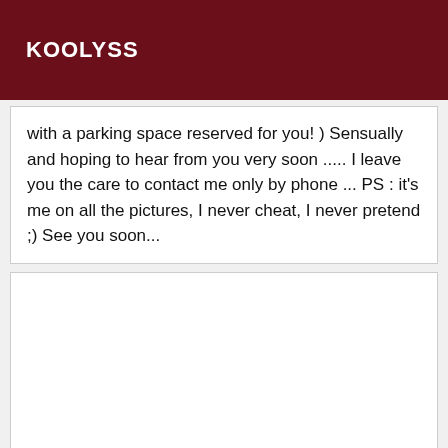KOOLYSS
with a parking space reserved for you! ) Sensually and hoping to hear from you very soon ..... I leave you the care to contact me only by phone ... PS : it's me on all the pictures, I never cheat, I never pretend ;) See you soon...
[Figure (other): Empty white box, likely a photo placeholder]